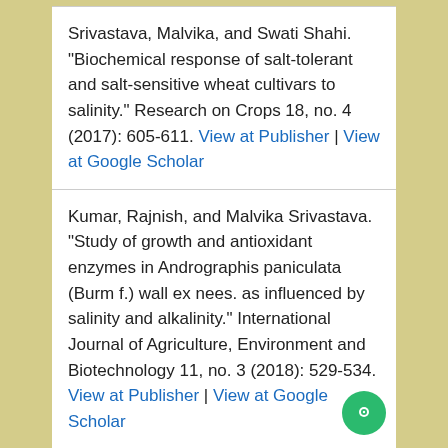Srivastava, Malvika, and Swati Shahi. "Biochemical response of salt-tolerant and salt-sensitive wheat cultivars to salinity." Research on Crops 18, no. 4 (2017): 605-611. View at Publisher | View at Google Scholar
Kumar, Rajnish, and Malvika Srivastava. "Study of growth and antioxidant enzymes in Andrographis paniculata (Burm f.) wall ex nees. as influenced by salinity and alkalinity." International Journal of Agriculture, Environment and Biotechnology 11, no. 3 (2018): 529-534. View at Publisher | View at Google Scholar
Jathina, M., and A. K. Abdussalam. "Variations in ion content and bioactive components of ipomoea violacea l.(convolvulaceae) in glycophytic and halophytic conditions." Plant